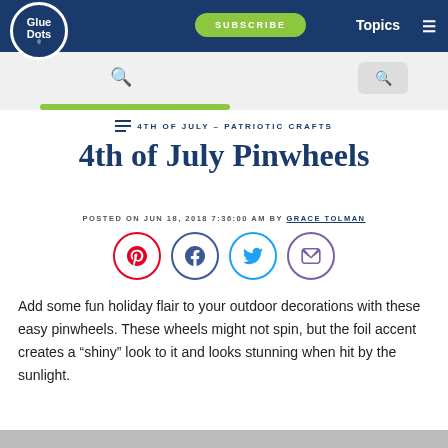Glue Dots - SUBSCRIBE - Topics
[Figure (screenshot): Search bar area with magnifying glass icons and olive accent line]
4TH OF JULY – PATRIOTIC CRAFTS
4th of July Pinwheels
POSTED ON JUN 18, 2018 7:36:00 AM BY GRACE TOLMAN
[Figure (infographic): Social sharing icons: Pinterest, Facebook, Twitter, Email]
Add some fun holiday flair to your outdoor decorations with these easy pinwheels. These wheels might not spin, but the foil accent creates a “shiny” look to it and looks stunning when hit by the sunlight.